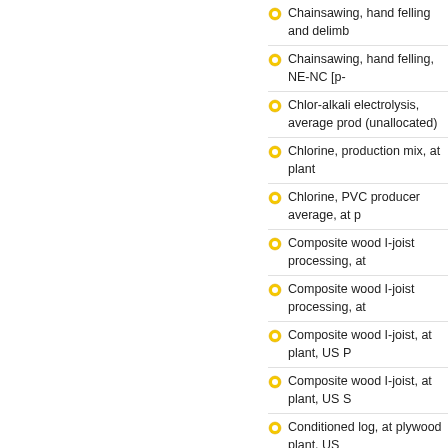Chainsawing, hand felling and delimb
Chainsawing, hand felling, NE-NC [p-
Chlor-alkali electrolysis, average prod (unallocated)
Chlorine, production mix, at plant
Chlorine, PVC producer average, at p
Composite wood I-joist processing, at
Composite wood I-joist processing, at
Composite wood I-joist, at plant, US P
Composite wood I-joist, at plant, US S
Conditioned log, at plywood plant, US
Conditioned log, at plywood plant, US
Co-products of glue laminated beam p unspecified, US PNW
Co-products of glue laminated beam p unspecified, US SE
Co-products of laminated veneer lumb US PNW
Coproducts of laminated veneer lumb US SE
Corn, whole plant, at field
Cotton, whole plant, at field